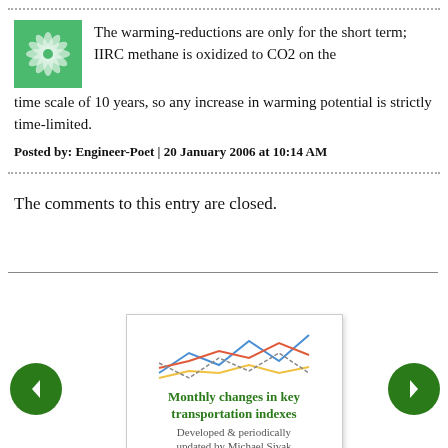The warming-reductions are only for the short term; IIRC methane is oxidized to CO2 on the time scale of 10 years, so any increase in warming potential is strictly time-limited.
Posted by: Engineer-Poet | 20 January 2006 at 10:14 AM
The comments to this entry are closed.
[Figure (illustration): Thumbnail card showing 'Monthly changes in key transportation indexes, Developed & periodically updated by Michael Sivak' with a line chart graphic]
[Figure (illustration): Left navigation arrow (green circle with white left arrow)]
[Figure (illustration): Right navigation arrow (green circle with white right arrow)]